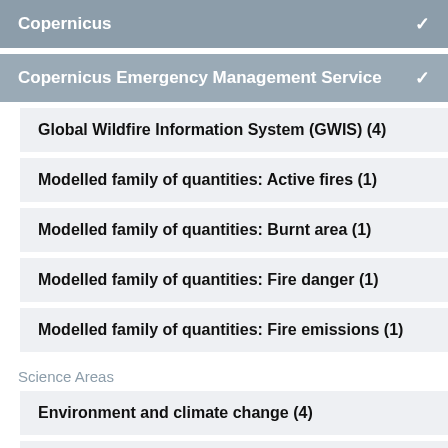Copernicus ✓
Copernicus Emergency Management Service ✓
Global Wildfire Information System (GWIS) (4)
Modelled family of quantities: Active fires (1)
Modelled family of quantities: Burnt area (1)
Modelled family of quantities: Fire danger (1)
Modelled family of quantities: Fire emissions (1)
Science Areas
Environment and climate change (4)
Safety and security (4)